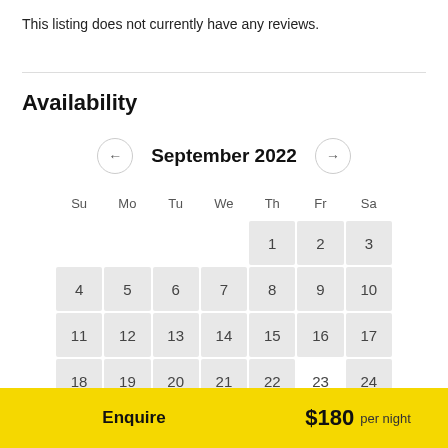This listing does not currently have any reviews.
Availability
[Figure (other): September 2022 calendar showing dates 1-30. Dates 1-3 and 7-30 are shown in gray cells (unavailable). Date 23 appears in white. Dates 25-30 are shown in the last row.]
Enquire   $180 per night